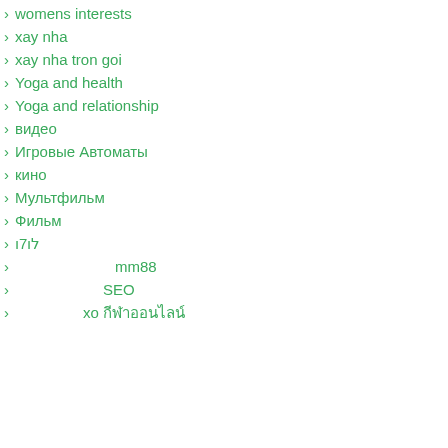womens interests
xay nha
xay nha tron goi
Yoga and health
Yoga and relationship
видео
Игровые Автоматы
кино
Мультфильм
Фильм
לו7ו
mm88
SEO
xo กีฬาออนไลน์